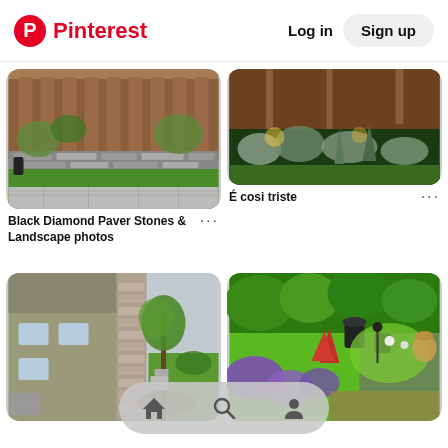Pinterest  Log in  Sign up
[Figure (photo): Backyard with green lawn, stone retaining wall with plants, and wooden fence]
Black Diamond Paver Stones & Landscape photos
[Figure (photo): Garden bed with silver-leafed plants and ornamental grasses lit with warm lighting at night]
É cosi triste
[Figure (photo): Side yard of a house with a young tree, stone steps, and mulched garden bed]
[Figure (photo): Lush garden with purple lavender, tropical plants, and bright green lawn]